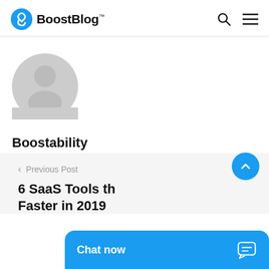BoostBlog™
[Figure (illustration): Generic grey avatar/profile placeholder icon showing a person silhouette inside a circle]
Boostability
< Previous Post
6 SaaS Tools th Faster in 2019